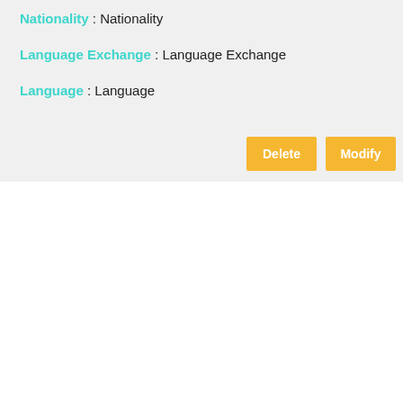Nationality : Nationality
Language Exchange : Language Exchange
Language : Language